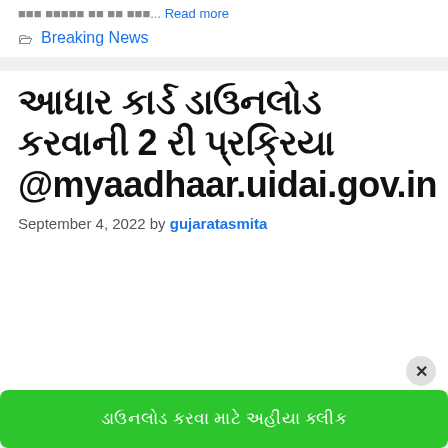... read more
Breaking News
આધાર કાર્ડ ડાઉનલોડ કરવાની 2 રી પ્રક્રિયા @myaadhaar.uidai.gov.in
September 4, 2022 by gujaratasmita
ડાઉનલોડ કરવા માટે અહીંયા ક્લીક